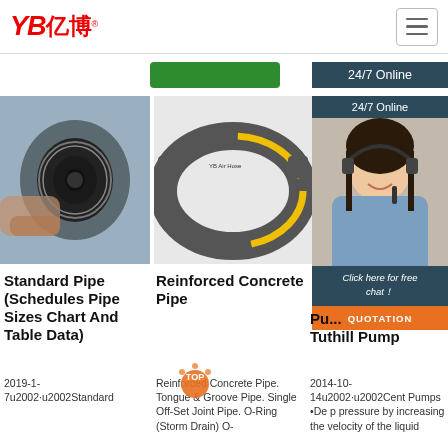YB亿博® [logo] | hamburger menu
[Figure (screenshot): Green button (partially visible)]
24/7 Online
[Figure (photo): Hand holding a rubber hose end, close-up view]
[Figure (photo): YB Air Hose reinforced rubber hose product photo with yellow stripe]
[Figure (photo): Customer service woman with headset smiling, with 24/7 Online banner, Click here for free chat!, and QUOTATION button]
Standard Pipe (Schedules Pipe Sizes Chart And Table Data)
Reinforced Concrete Pipe
Pu... Tuthill Pump
2019-1-7u2002·u2002Standard
Reinforced Concrete Pipe. Tongue & Groove Pipe. Single Off-Set Joint Pipe. O-Ring (Storm Drain) O-
2014-10-14u2002·u2002Cent Pumps •De p pressure by increasing the velocity of the liquid